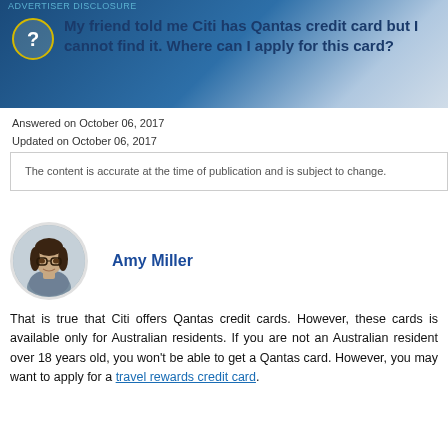ADVERTISER DISCLOSURE
My friend told me Citi has Qantas credit card but I cannot find it. Where can I apply for this card?
Answered on October 06, 2017
Updated on October 06, 2017
The content is accurate at the time of publication and is subject to change.
Amy Miller
That is true that Citi offers Qantas credit cards. However, these cards is available only for Australian residents. If you are not an Australian resident over 18 years old, you won't be able to get a Qantas card. However, you may want to apply for a travel rewards credit card.